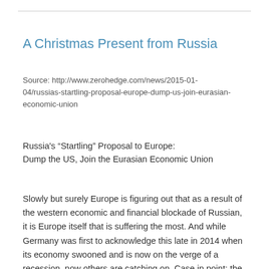A Christmas Present from Russia
Source: http://www.zerohedge.com/news/2015-01-04/russias-startling-proposal-europe-dump-us-join-eurasian-economic-union
Russia’s “Startling” Proposal to Europe:
Dump the US, Join the Eurasian Economic Union
Slowly but surely Europe is figuring out that as a result of the western economic and financial blockade of Russian, it is Europe itself that is suffering the most. And while Germany was first to acknowledge this late in 2014 when its economy swooned and is now on the verge of a recession, now others are catching on. Case in point: the former head of the